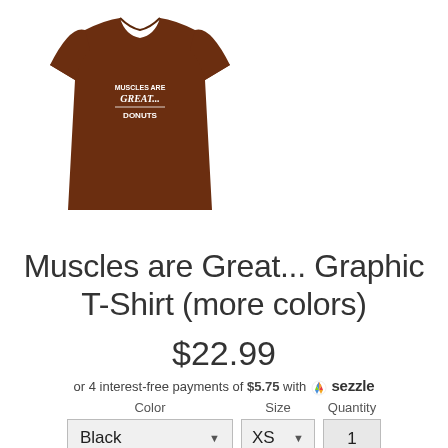[Figure (photo): Brown graphic t-shirt with text 'Muscles are Great... Donuts' printed on the chest, displayed on a white background.]
Muscles are Great... Graphic T-Shirt (more colors)
$22.99
or 4 interest-free payments of $5.75 with Sezzle
Color: Black | Size: XS | Quantity: 1